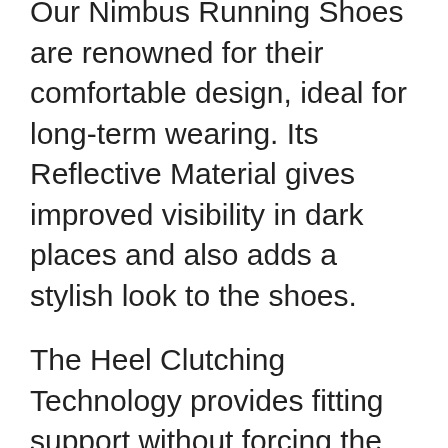Our Nimbus Running Shoes are renowned for their comfortable design, ideal for long-term wearing. Its Reflective Material gives improved visibility in dark places and also adds a stylish look to the shoes.
The Heel Clutching Technology provides fitting support without forcing the heels, creating an exceptional experience of comfort. And ASICS High Abrasion Rubber is situated in the major areas of the outsole for excellent stability and longevity in hard weather conditions.
The midsole is lightweight and gives restful